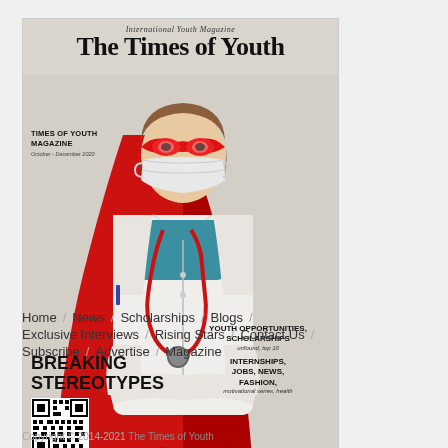[Figure (illustration): Magazine cover of 'The Times of Youth' international youth magazine, October-December 2020 issue. Features a nurse/doctor in white coat with red superhero cape and mask, wearing a face mask and stethoscope, arms crossed. Cover text: 'BREAKING STEREOTYPES #ShareToAware', 'YOUTH OPPORTUNITIES, SCHOLARSHIPS', 'INTERNSHIPS, JOBS, NEWS, FASHION', 'www.timesofyouth.com', QR code bottom left.]
Home / News / Scholarships / Blogs / Exclusive Interviews / Rising Stars / Contact Us / Subscribe / Advertise / Magazine
Copyright © 2014-2021 The Times of Youth